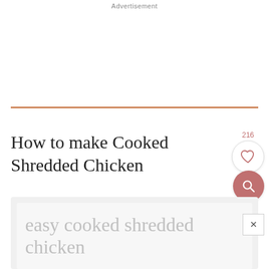Advertisement
How to make Cooked Shredded Chicken
216
easy cooked shredded chicken